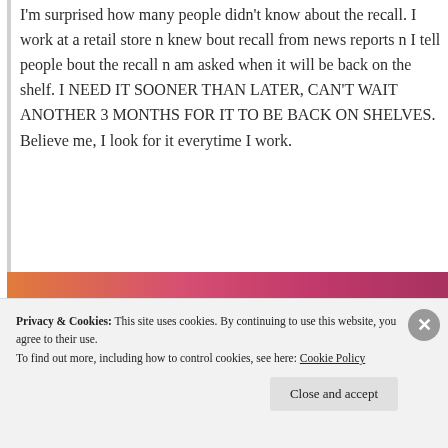I'm surprised how many people didn't know about the recall. I work at a retail store n knew bout recall from news reports n I tell people bout the recall n am asked when it will be back on the shelf. I NEED IT SOONER THAN LATER, CAN'T WAIT ANOTHER 3 MONTHS FOR IT TO BE BACK ON SHELVES. Believe me, I look for it everytime I work.
★ Like
↪ Reply
Privacy & Cookies: This site uses cookies. By continuing to use this website, you agree to their use.
To find out more, including how to control cookies, see here: Cookie Policy
Close and accept